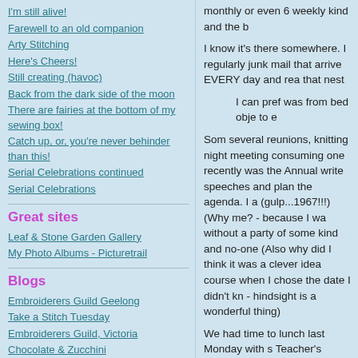I'm still alive!
Farewell to an old companion
Arty Stitching
Here's Cheers!
Still creating (havoc)
Back from the dark side of the moon
There are fairies at the bottom of my sewing box!
Catch up, or, you're never behinder than this!
Serial Celebrations continued
Serial Celebrations
Great sites
Leaf & Stone Garden Gallery
My Photo Albums - Picturetrail
Blogs
Embroiderers Guild Geelong
Take a Stitch Tuesday
Embroiderers Guild, Victoria
Chocolate & Zucchini
Yarn Harlot
monthly or even 6 weekly kind and the b
I know it's there somewhere. I regularly junk mail that arrive EVERY day and rea that nest
I can pref was from bed obje to e
Som several reunions, knitting night meeting consuming one recently was the Annual write speeches and plan the agenda. I a (gulp...1967!!!) (Why me? - because I wa without a party of some kind and no-one (Also why did I think it was a clever idea course when I chose the date I didn't kn - hindsight is a wonderful thing)
We had time to lunch last Monday with s Teacher's College, where we figured ou we left school" reunion we were about to These numbers are really starting to get changed a bit since then, I naturally ass photos that show a skinny young thing w